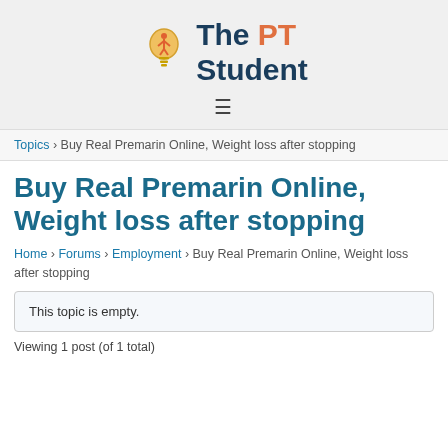[Figure (logo): The PT Student logo with lightbulb icon and text]
≡
Topics › Buy Real Premarin Online, Weight loss after stopping
Buy Real Premarin Online, Weight loss after stopping
Home › Forums › Employment › Buy Real Premarin Online, Weight loss after stopping
This topic is empty.
Viewing 1 post (of 1 total)